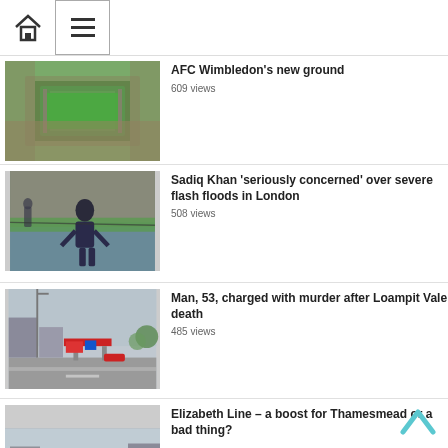Home | Menu navigation
[Figure (photo): Aerial view of AFC Wimbledon's new ground football stadium]
AFC Wimbledon's new ground
609 views
[Figure (photo): Person standing in floodwater wearing a dark raincoat in London park]
Sadiq Khan 'seriously concerned' over severe flash floods in London
508 views
[Figure (photo): Street view photo of a petrol station and road at Loampit Vale]
Man, 53, charged with murder after Loampit Vale death
485 views
[Figure (photo): Street view of buildings in Thamesmead]
Elizabeth Line – a boost for Thamesmead or a bad thing?